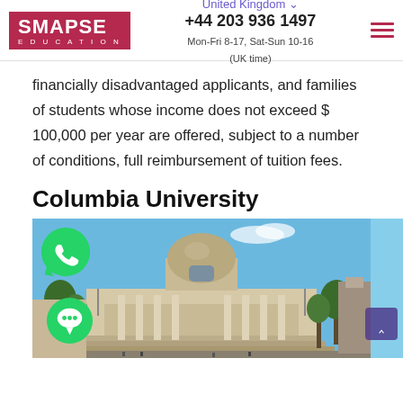United Kingdom | +44 203 936 1497 | Mon-Fri 8-17, Sat-Sun 10-16 (UK time)
financially disadvantaged applicants, and families of students whose income does not exceed $ 100,000 per year are offered, subject to a number of conditions, full reimbursement of tuition fees.
Columbia University
[Figure (photo): Exterior photo of Columbia University main building (Low Library) with large dome, classical columns, wide steps, trees on both sides, and blue sky. WhatsApp and chat icons overlaid on the left side.]